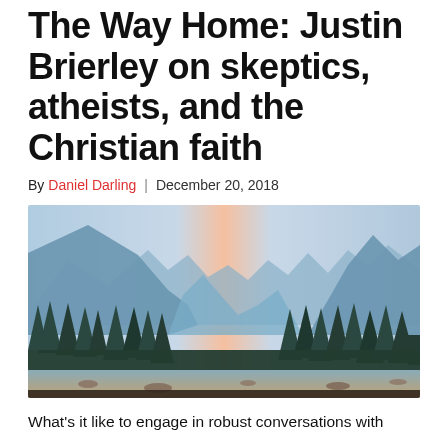The Way Home: Justin Brierley on skeptics, atheists, and the Christian faith
By Daniel Darling | December 20, 2018
[Figure (photo): Landscape photograph of a mountain valley scene, likely Yosemite, with tall conifers in the foreground, a river with rocks in the bottom, misty blue mountains in the background, and a pinkish-orange sunset sky in the center.]
What's it like to engage in robust conversations with